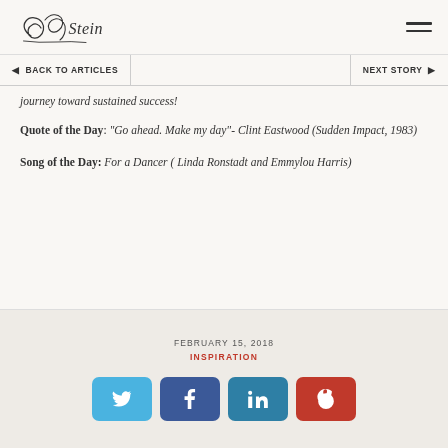Brandon Stein [logo/signature]
◀ BACK TO ARTICLES | NEXT STORY ▶
journey toward sustained success!
Quote of the Day: "Go ahead. Make my day"- Clint Eastwood (Sudden Impact, 1983)
Song of the Day: For a Dancer ( Linda Ronstadt and Emmylou Harris)
FEBRUARY 15, 2018
INSPIRATION